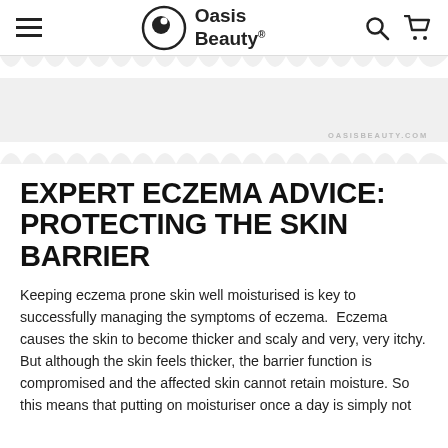Oasis Beauty - navigation header with hamburger menu, logo, search and cart icons
[Figure (illustration): Decorative scalloped-edge banner area with light grey background and OASISBEAUTY.COM watermark text in the lower right]
EXPERT ECZEMA ADVICE: PROTECTING THE SKIN BARRIER
Keeping eczema prone skin well moisturised is key to successfully managing the symptoms of eczema.  Eczema causes the skin to become thicker and scaly and very, very itchy. But although the skin feels thicker, the barrier function is compromised and the affected skin cannot retain moisture. So this means that putting on moisturiser once a day is simply not